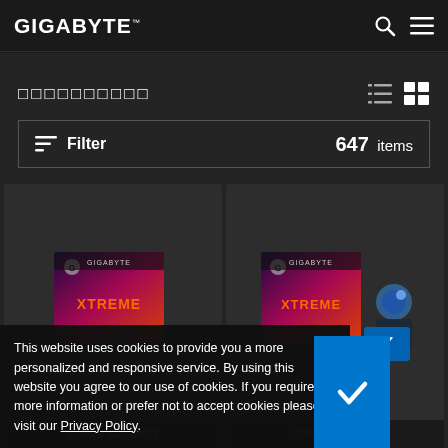GIGABYTE
□□□□□□□□□□ (product listing, 10 placeholder characters)
Filter   647 items
[Figure (screenshot): Two AORUS GeForce product box images side by side in dark product listing grid cards]
This website uses cookies to provide you a more personalized and responsive service. By using this website you agree to our use of cookies. If you require more information or prefer not to accept cookies please visit our Privacy Policy.
AORUS GeForce   AORUS GeForce